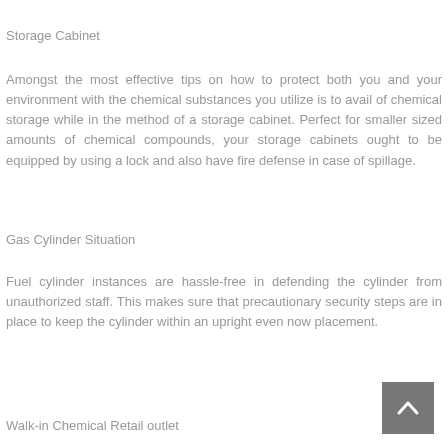Storage Cabinet
Amongst the most effective tips on how to protect both you and your environment with the chemical substances you utilize is to avail of chemical storage while in the method of a storage cabinet. Perfect for smaller sized amounts of chemical compounds, your storage cabinets ought to be equipped by using a lock and also have fire defense in case of spillage.
Gas Cylinder Situation
Fuel cylinder instances are hassle-free in defending the cylinder from unauthorized staff. This makes sure that precautionary security steps are in place to keep the cylinder within an upright even now placement.
Walk-in Chemical Retail outlet